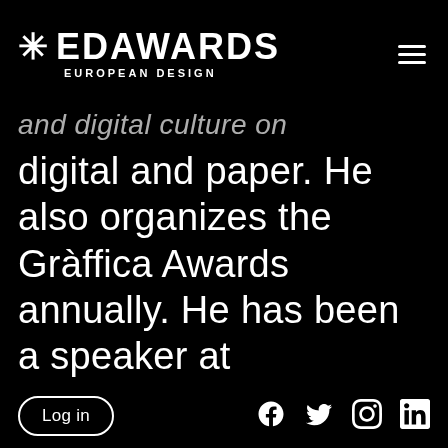* EDAWARDS EUROPEAN DESIGN
and digital culture on digital and paper. He also organizes the Gràffica Awards annually. He has been a speaker at conferences and festivals but he has also organized and curated different
Log in | Facebook | Twitter | Instagram | LinkedIn